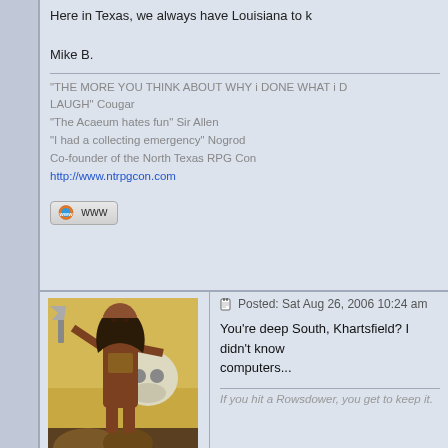Here in Texas, we always have Louisiana to k
Mike B.
"THE MORE YOU THINK ABOUT WHY i DONE WHAT i D LAUGH" Cougar
"The Acaeum hates fun" Sir Allen
"I had a collecting emergency" Nogrod
Co-founder of the North Texas RPG Con
http://www.ntrpgcon.com
[Figure (other): WWW button/link icon]
Posted: Sat Aug 26, 2006 10:24 am
[Figure (illustration): Fantasy barbarian warrior avatar image - Deadlord user avatar showing a warrior woman with axe]
Deadlord
Grandstanding Collector
Posts: 5667
Joined: Jun 30, 2003
Last Visit: Aug 26, 2022
You're deep South, Khartsfield? I didn't know computers...
If you hit a Rowsdower, you get to keep it.